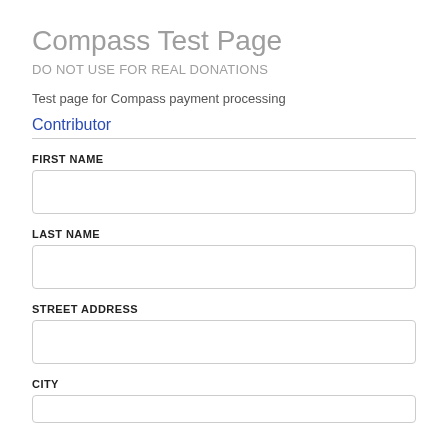Compass Test Page
DO NOT USE FOR REAL DONATIONS
Test page for Compass payment processing
Contributor
FIRST NAME
LAST NAME
STREET ADDRESS
CITY